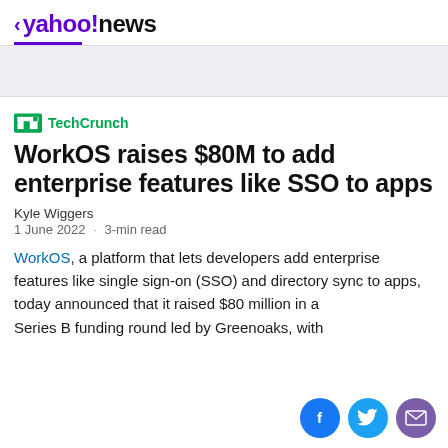< yahoo!news
[Figure (logo): TechCrunch logo with green TC icon]
WorkOS raises $80M to add enterprise features like SSO to apps
Kyle Wiggers
1 June 2022 · 3-min read
WorkOS, a platform that lets developers add enterprise features like single sign-on (SSO) and directory sync to apps, today announced that it raised $80 million in a Series B funding round led by Greenoaks, with...